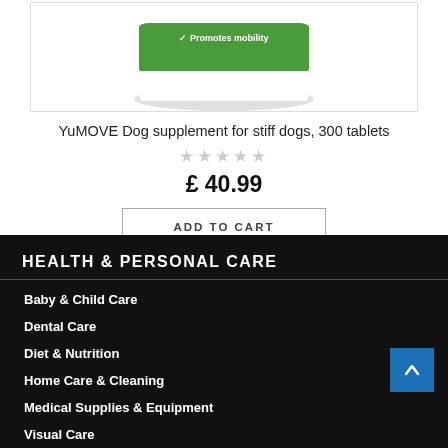[Figure (photo): Product image of YuMOVE Dog supplement container, green label showing 'Promotes mobility', white/grey background]
YuMOVE Dog supplement for stiff dogs, 300 tablets
[Figure (other): 5 empty/grey star rating icons]
£ 40.99
ADD TO CART
HEALTH & PERSONAL CARE
Baby & Child Care
Dental Care
Diet & Nutrition
Home Care & Cleaning
Medical Supplies & Equipment
Visual Care